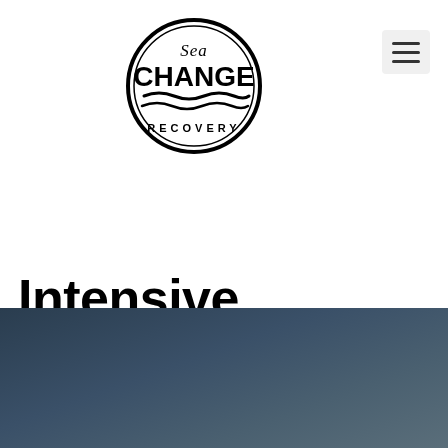[Figure (logo): Sea Change Recovery circular logo with wave design and text 'Sea CHANGE RECOVERY']
Intensive Addiction Outpatient Santa Monica – Sea Change Recovery
[Figure (other): Dark blue-grey gradient background section at bottom of page]